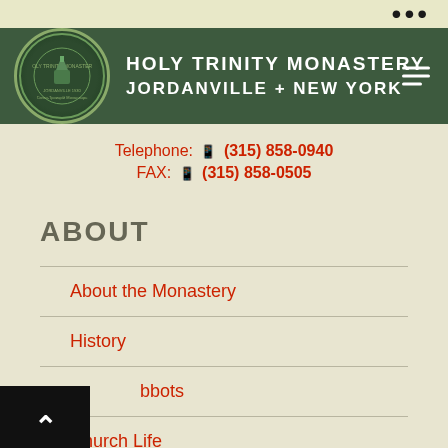Holy Trinity Monastery — Jordanville + New York
Telephone: (315) 858-0940
FAX: (315) 858-0505
ABOUT
About the Monastery
History
Abbots
Church Life